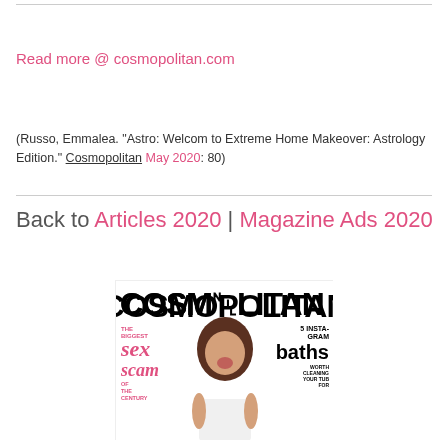Read more @ cosmopolitan.com
(Russo, Emmalea. "Astro: Welcom to Extreme Home Makeover: Astrology Edition." Cosmopolitan May 2020: 80)
Back to Articles 2020 | Magazine Ads 2020
[Figure (photo): Cover of Cosmopolitan magazine showing a woman laughing with headline text including 'THE BIGGEST sex scam OF THE CENTURY' and '5 INSTAGRAM baths WORTH CLEANING YOUR TUB FOR']